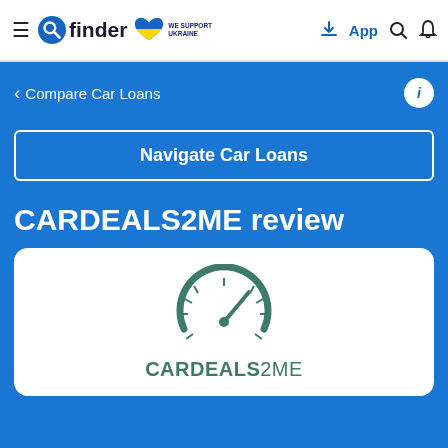finder — WE SUPPORT UKRAINE — App
< Compare Car Loans
Navigate Car Loans
CARDEALS2ME review
[Figure (logo): CARDEALS2ME logo: speedometer/gauge icon in teal/dark green above the text CARDEALS2ME]